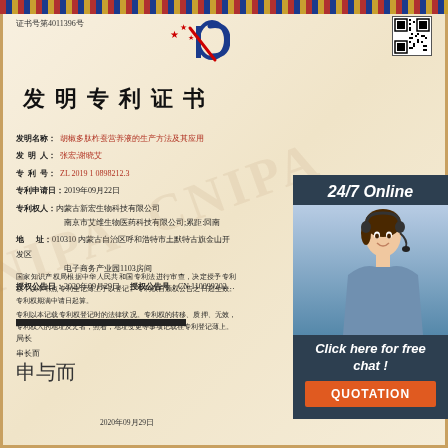证书号第4011396号
[Figure (logo): Chinese patent office logo with stars and letter P]
[Figure (other): QR code]
发明专利证书
发明名称：胡椒多肽柞蚕营养液的生产方法及其应用
发明人：张宏;谢晓艾
专利号：ZL 2019 1 0898212.3
专利申请日：2019年09月22日
专利权人：内蒙古新宏生物科技有限公司 南京市艾维生物医药科技有限公司;累距:回南
地址：010310 内蒙古自治区呼和浩特市土默特古旗金山开发区电子商务产业园1103房间
授权公告日：2020年09月29日  授权公告号：CN 110099202 ...
国家知识产权局根据中华人民共和国专利法进行审查，决定授予专利权，以本书点专利全记薄上予以登记。专利权自颁权公告之日起生效。专利权期满中请日起算。
专利以本记载专利权登记时的法律状况。专利权的转移、质押、无效，专利权人的地址及え者，照着，地址变更等事项记载在专利登记薄上。
局长
串长而
2020年09月29日
[Figure (photo): Customer service representative woman with headset, 24/7 Online overlay panel]
[Figure (logo): TOP logo with orange dots decoration]